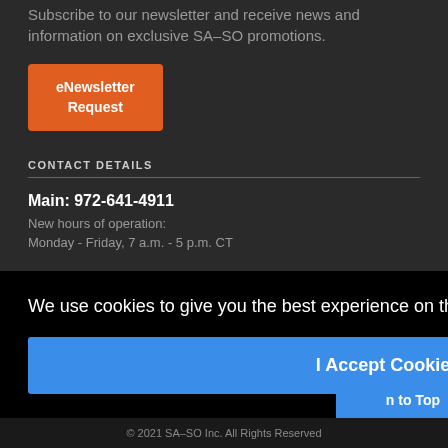Subscribe to our newsletter and receive news and information on exclusive SA-SO promotions.
eNewsletter Request
CONTACT DETAILS
Main: 972-641-4911
New hours of operation:
Monday - Friday, 7 a.m. - 5 p.m. CT
We use cookies to give you the best experience on this website. Privacy Policy
I Accept Cookies
n to Top
© 2021 SA-SO Inc. All Rights Reserved